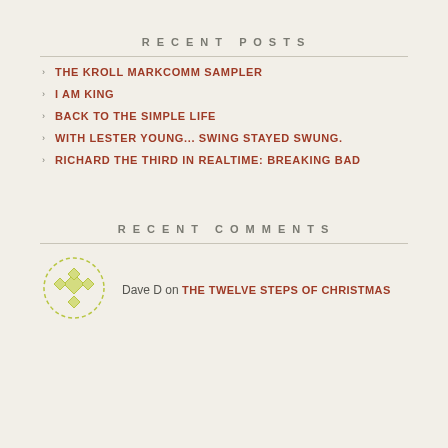RECENT POSTS
THE KROLL MARKCOMM SAMPLER
I AM KING
BACK TO THE SIMPLE LIFE
WITH LESTER YOUNG... SWING STAYED SWUNG.
RICHARD THE THIRD IN REALTIME: BREAKING BAD
RECENT COMMENTS
Dave D on THE TWELVE STEPS OF CHRISTMAS